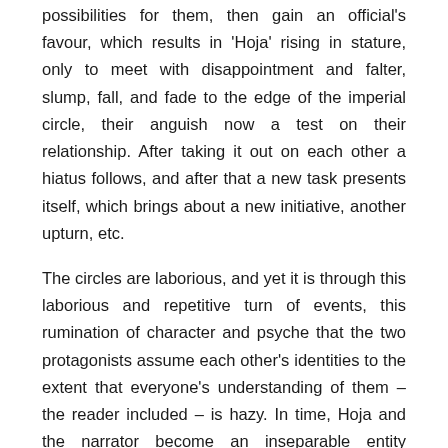possibilities for them, then gain an official's favour, which results in 'Hoja' rising in stature, only to meet with disappointment and falter, slump, fall, and fade to the edge of the imperial circle, their anguish now a test on their relationship. After taking it out on each other a hiatus follows, and after that a new task presents itself, which brings about a new initiative, another upturn, etc.
The circles are laborious, and yet it is through this laborious and repetitive turn of events, this rumination of character and psyche that the two protagonists assume each other's identities to the extent that everyone's understanding of them – the reader included – is hazy. In time, Hoja and the narrator become an inseparable entity working its way through the Ottoman Empire. Where one ends, the other begins, and they have spent enough time with each other for the premise to feel convincing.